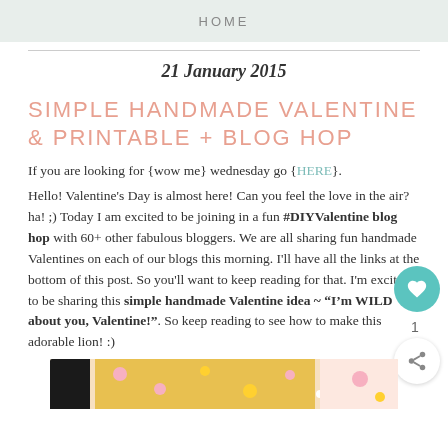HOME
21 January 2015
SIMPLE HANDMADE VALENTINE & PRINTABLE + BLOG HOP
If you are looking for {wow me} wednesday go {HERE}.
Hello! Valentine's Day is almost here! Can you feel the love in the air? ha! ;) Today I am excited to be joining in a fun #DIYValentine blog hop with 60+ other fabulous bloggers. We are all sharing fun handmade Valentines on each of our blogs this morning. I'll have all the links at the bottom of this post. So you'll want to keep reading for that. I'm excited to be sharing this simple handmade Valentine idea ~ “I’m WILD about you, Valentine!”. So keep reading to see how to make this adorable lion! :)
[Figure (photo): Partial bottom image showing colorful craft/Valentine materials with dots and heart patterns]